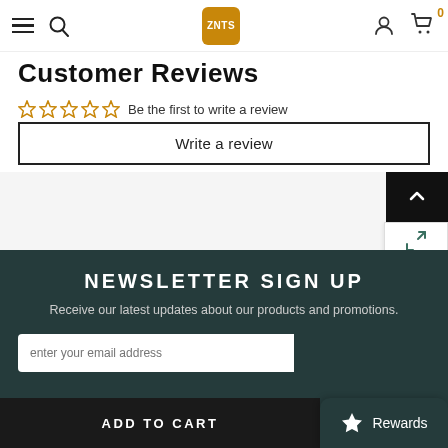ZNTS store navbar with hamburger, search, logo, user icon, cart (0)
Customer Reviews
☆☆☆☆☆ Be the first to write a review
Write a review
NEWSLETTER SIGN UP
Receive our latest updates about our products and promotions.
enter your email address
ADD TO CART
Rewards